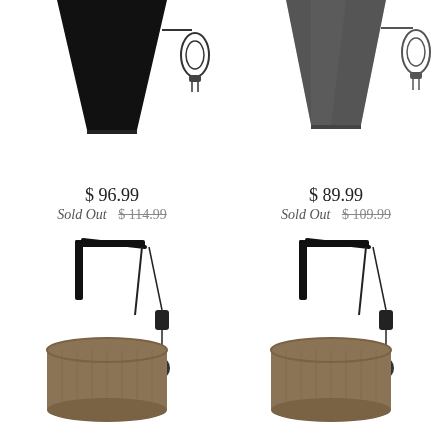[Figure (photo): Black fabric cone/trapezoid pendant lamp with plug-in cord, top-left crop]
$ 96.99
Sold Out $ 114.99
[Figure (photo): Dark grey/black metal cone pendant lamp with plug-in cord, top-right crop]
$ 89.99
Sold Out $ 109.99
[Figure (photo): Wall-mounted swing arm lamp with burlap/jute drum shade and plug-in cord, bottom-left]
[Figure (photo): Wall-mounted swing arm lamp with burlap/jute drum shade and plug-in cord, bottom-right]